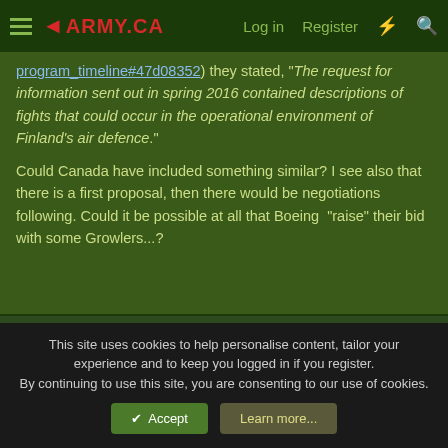ARMY.CA — Log in | Register
program_timeline#47d08352) they stated, "The request for information sent out in spring 2016 contained descriptions of fights that could occur in the operational environment of Finland's air defence."
Could Canada have included something similar? I see also that there is a first proposal, then there would be negotiations following. Could it be possible at all that Boeing  "raise" their bid with some Growlers...?
dapaterson
Army.ca Relic  Subscriber  Donor
This site uses cookies to help personalise content, tailor your experience and to keep you logged in if you register.
By continuing to use this site, you are consenting to our use of cookies.